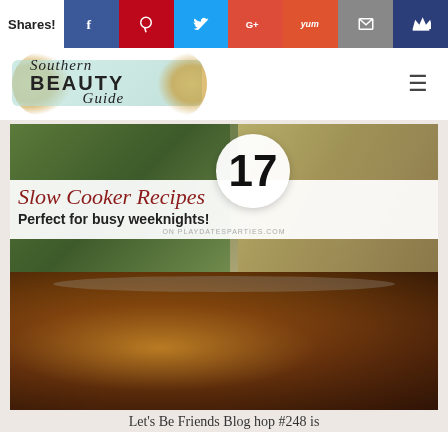Shares! [social share icons: Facebook, Pinterest, Twitter, Google+, Yummly, Email, Crown]
[Figure (logo): Southern Beauty Guide blog logo with teal watercolor and gold glitter accents]
[Figure (photo): Composite image: top half shows food photography of Asian dishes with text overlay '17 Slow Cooker Recipes Perfect for busy weeknights! on playdatesparties.com'; bottom half shows braised meat in a slow cooker pot]
Let's Be Friends Blog hop #248 is